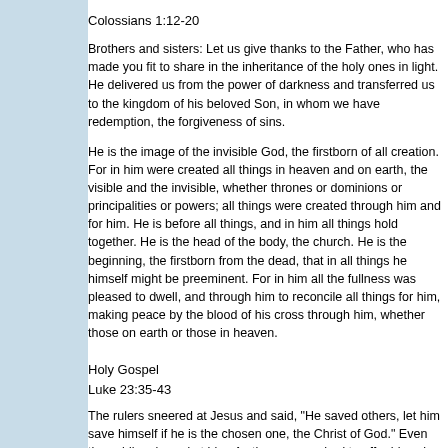Colossians 1:12-20
Brothers and sisters: Let us give thanks to the Father, who has made you fit to share in the inheritance of the holy ones in light. He delivered us from the power of darkness and transferred us to the kingdom of his beloved Son, in whom we have redemption, the forgiveness of sins.
He is the image of the invisible God, the firstborn of all creation. For in him were created all things in heaven and on earth, the visible and the invisible, whether thrones or dominions or principalities or powers; all things were created through him and for him. He is before all things, and in him all things hold together. He is the head of the body, the church. He is the beginning, the firstborn from the dead, that in all things he himself might be preeminent. For in him all the fullness was pleased to dwell, and through him to reconcile all things for him, making peace by the blood of his cross through him, whether those on earth or those in heaven.
Holy Gospel
Luke 23:35-43
The rulers sneered at Jesus and said, "He saved others, let him save himself if he is the chosen one, the Christ of God." Even the soldiers jeered at him. As they approached to offer him wine they called out, "If you are King of the Jews, save yourself." Above him there was an inscription that read, "This is the King of the Jews."
Now one of the criminals hanging there reviled Jesus, saying, "